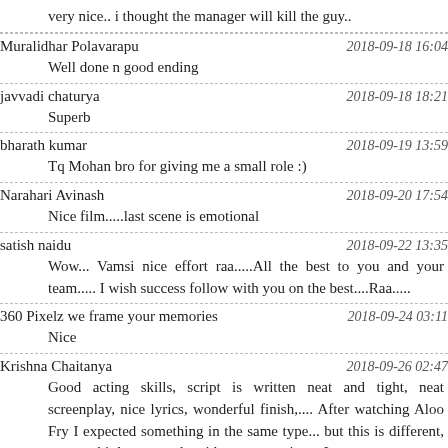very nice.. i thought the manager will kill the guy..
Muralidhar Polavarapu	2018-09-18 16:04
Well done n good ending
javvadi chaturya	2018-09-18 18:21
Superb
bharath kumar	2018-09-19 13:59
Tq Mohan bro for giving me a small role :)
Narahari Avinash	2018-09-20 17:54
Nice film.....last scene is emotional
satish naidu	2018-09-22 13:35
Wow... Vamsi nice effort raa.....All the best to you and your team..... I wish success follow with you on the best....Raa.....
360 Pixelz we frame your memories	2018-09-24 03:11
Nice
Krishna Chaitanya	2018-09-26 02:47
Good acting skills, script is written neat and tight, neat screenplay, nice lyrics, wonderful finish,.... After watching Aloo Fry I expected something in the same type... but this is different, to say a bit less comedy with more emotion... I